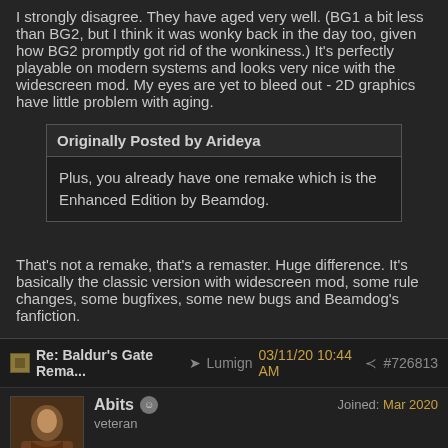I strongly disagree. They have aged very well. (BG1 a bit less than BG2, but I think it was wonky back in the day too, given how BG2 promptly got rid of the wonkiness.) It's perfectly playable on modern systems and looks very nice with the widescreen mod. My eyes are yet to bleed out - 2D graphics have little problem with aging.
Originally Posted by Arideya
Plus, you already have one remake which is the Enhanced Edition by Beamdog.
That's not a remake, that's a remaster. Huge difference. It's basically the classic version with widescreen mod, some rule changes, some bugfixes, some new bugs and Beamdog's fanfiction.
Re: Baldur's Gate Rema... → Lumign 03/11/20 10:44 AM ⮕ #726813
Abits | veteran | Joined: Mar 2020
People who played bg1-2 when it came out shouldn't have a say in the question "do you think the game aged well". I mean they can say whatever they want, but they should acknowledge their bias